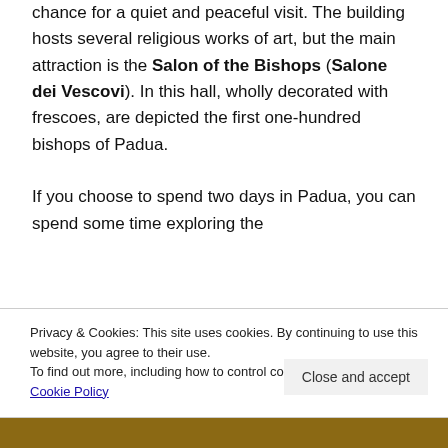chance for a quiet and peaceful visit. The building hosts several religious works of art, but the main attraction is the Salon of the Bishops (Salone dei Vescovi). In this hall, wholly decorated with frescoes, are depicted the first one-hundred bishops of Padua.

If you choose to spend two days in Padua, you can spend some time exploring the
Privacy & Cookies: This site uses cookies. By continuing to use this website, you agree to their use.
To find out more, including how to control cookies, see here: Cookie Policy
Close and accept